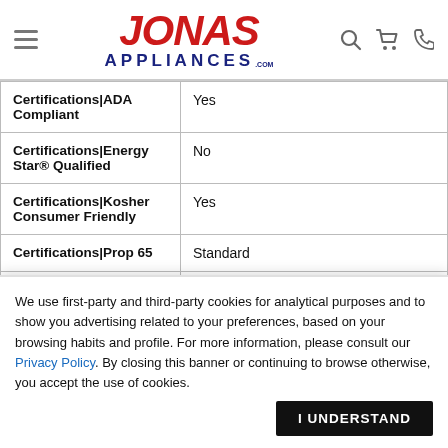[Figure (logo): Jonas Appliances logo with hamburger menu icon, search icon, cart icon, and phone icon in the header]
| Certifications|ADA Compliant | Yes |
| Certifications|Energy Star® Qualified | No |
| Certifications|Kosher Consumer Friendly | Yes |
| Certifications|Prop 65 | Standard |
| Certifications|UL | Yes |
We use first-party and third-party cookies for analytical purposes and to show you advertising related to your preferences, based on your browsing habits and profile. For more information, please consult our Privacy Policy. By closing this banner or continuing to browse otherwise, you accept the use of cookies.
I UNDERSTAND